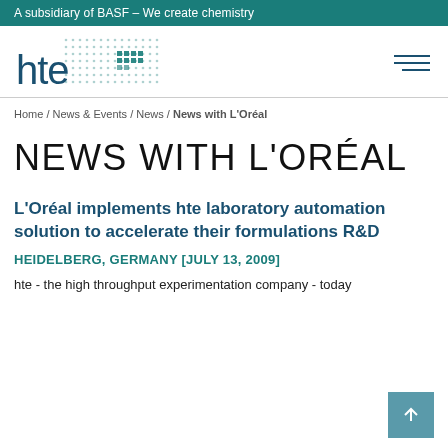A subsidiary of BASF – We create chemistry
[Figure (logo): hte company logo with dot pattern grid and teal color scheme]
Home / News & Events / News / News with L'Oréal
NEWS WITH L'ORÉAL
L'Oréal implements hte laboratory automation solution to accelerate their formulations R&D
HEIDELBERG, GERMANY [JULY 13, 2009]
hte - the high throughput experimentation company - today